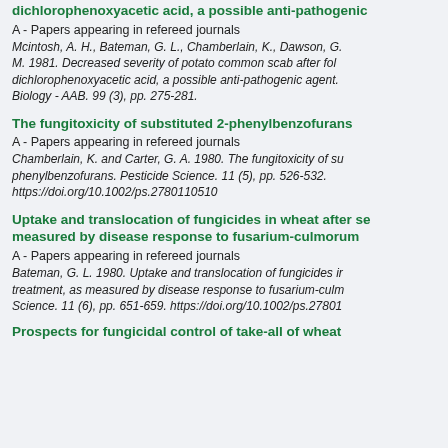dichlorophenoxyacetic acid, a possible anti-pathogenic
A - Papers appearing in refereed journals
Mcintosh, A. H., Bateman, G. L., Chamberlain, K., Dawson, G. M. 1981. Decreased severity of potato common scab after fol dichlorophenoxyacetic acid, a possible anti-pathogenic agent. Biology - AAB. 99 (3), pp. 275-281.
The fungitoxicity of substituted 2-phenylbenzofurans
A - Papers appearing in refereed journals
Chamberlain, K. and Carter, G. A. 1980. The fungitoxicity of su phenylbenzofurans. Pesticide Science. 11 (5), pp. 526-532. https://doi.org/10.1002/ps.2780110510
Uptake and translocation of fungicides in wheat after se measured by disease response to fusarium-culmorum
A - Papers appearing in refereed journals
Bateman, G. L. 1980. Uptake and translocation of fungicides ir treatment, as measured by disease response to fusarium-culm Science. 11 (6), pp. 651-659. https://doi.org/10.1002/ps.27801
Prospects for fungicidal control of take-all of wheat